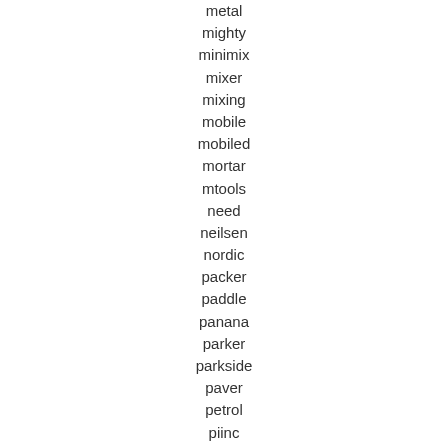metal
mighty
minimix
mixer
mixing
mobile
mobiled
mortar
mtools
need
neilsen
nordic
packer
paddle
panana
parker
parkside
paver
petrol
piinc
pistols
plug-in
plug-in75hp
portable
pour